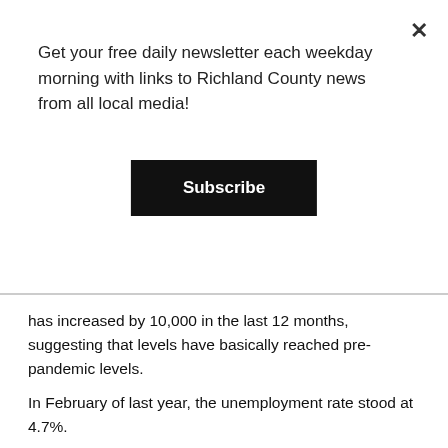Get your free daily newsletter each weekday morning with links to Richland County news from all local media!
Subscribe
has increased by 10,000 in the last 12 months, suggesting that levels have basically reached pre-pandemic levels.
In February of last year, the unemployment rate stood at 4.7%.
The national unemployment rate for February was 6.2%, down from 6.3% in January, and up from 3.5% in February 2020.
Ohio's nonagricultural wage and salary employment decreased 8,400 over the month, from a revised 5,304,300 in January to 5,295,900 in